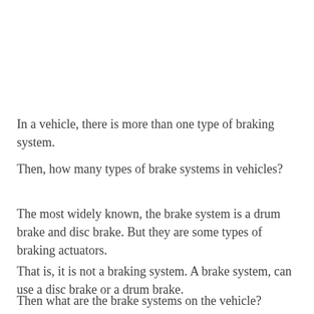In a vehicle, there is more than one type of braking system.
Then, how many types of brake systems in vehicles?
The most widely known, the brake system is a drum brake and disc brake. But they are some types of braking actuators.
That is, it is not a braking system. A brake system, can use a disc brake or a drum brake.
Then what are the brake systems on the vehicle?